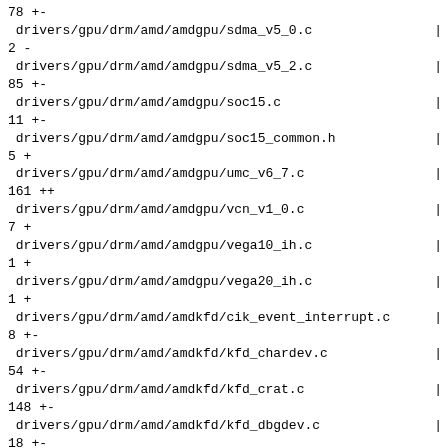78 +-
 drivers/gpu/drm/amd/amdgpu/sdma_v5_0.c | 2 -
 drivers/gpu/drm/amd/amdgpu/sdma_v5_2.c | 85 +-
 drivers/gpu/drm/amd/amdgpu/soc15.c | 11 +-
 drivers/gpu/drm/amd/amdgpu/soc15_common.h | 5 +
 drivers/gpu/drm/amd/amdgpu/umc_v6_7.c | 161 ++
 drivers/gpu/drm/amd/amdgpu/vcn_v1_0.c | 7 +
 drivers/gpu/drm/amd/amdgpu/vega10_ih.c | 1 +
 drivers/gpu/drm/amd/amdgpu/vega20_ih.c | 1 +
 drivers/gpu/drm/amd/amdkfd/cik_event_interrupt.c | 8 +-
 drivers/gpu/drm/amd/amdkfd/kfd_chardev.c | 54 +-
 drivers/gpu/drm/amd/amdkfd/kfd_crat.c | 148 +-
 drivers/gpu/drm/amd/amdkfd/kfd_dbgdev.c | 18 +-
 drivers/gpu/drm/amd/amdkfd/kfd_device.c | 998 +++-------
 .../gpu/drm/amd/amdkfd/kfd_device_queue_manager.c | 144 +-
 .../gpu/drm/amd/amdkfd/kfd_device_queue_manager.h |